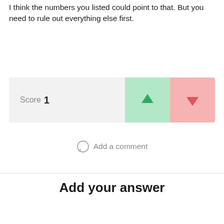I think the numbers you listed could point to that. But you need to rule out everything else first.
[Figure (screenshot): Score bar showing Score 1 with a green upvote arrow button and red downvote arrow button]
Add a comment
Add your answer